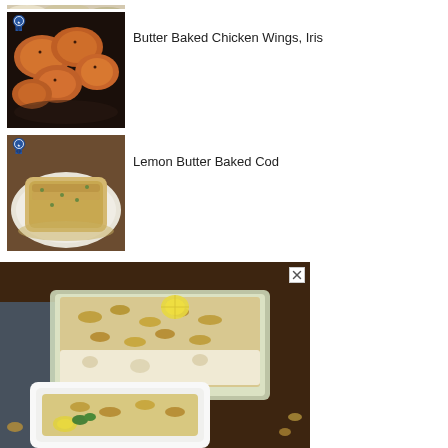[Figure (photo): Partial food image at top of page, appears to be a salad or appetizer dish]
[Figure (photo): Butter Baked Chicken Wings on a dark skillet, with a blue ribbon badge overlay in top-left corner]
Butter Baked Chicken Wings, Iris
[Figure (photo): Lemon Butter Baked Cod fillet on a plate with sauce, blue ribbon badge in top-left corner]
Lemon Butter Baked Cod
[Figure (photo): Large advertisement image of a baked fish casserole with nuts and lemon in a glass baking dish, with a smaller plated portion in front, with close/X button in top-right]